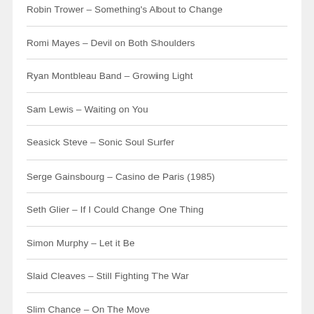Robin Trower – Something's About to Change
Romi Mayes – Devil on Both Shoulders
Ryan Montbleau Band – Growing Light
Sam Lewis – Waiting on You
Seasick Steve – Sonic Soul Surfer
Serge Gainsbourg – Casino de Paris (1985)
Seth Glier – If I Could Change One Thing
Simon Murphy – Let it Be
Slaid Cleaves – Still Fighting The War
Slim Chance – On The Move